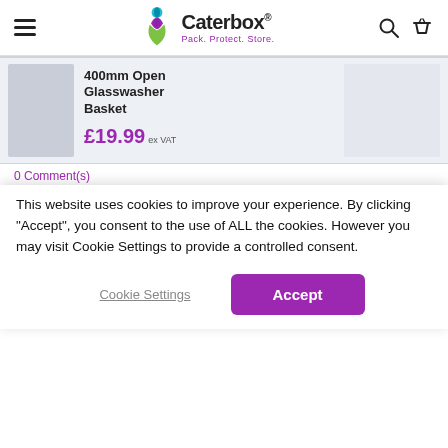Caterbox® — Pack. Protect. Store.
400mm Open Glasswasher Basket £19.99 ex VAT
0 Comment(s)
This website uses cookies to improve your experience. By clicking "Accept", you consent to the use of ALL the cookies. However you may visit Cookie Settings to provide a controlled consent.
Cookie Settings
Accept